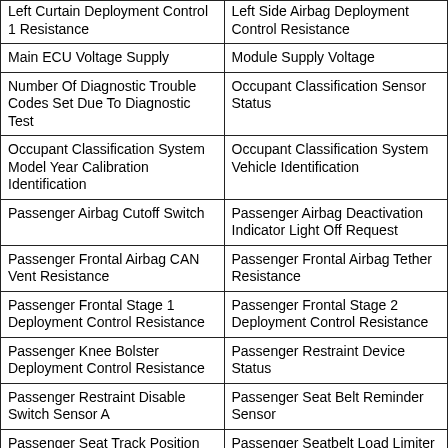| Left Curtain Deployment Control 1 Resistance | Left Side Airbag Deployment Control Resistance |
| Main ECU Voltage Supply | Module Supply Voltage |
| Number Of Diagnostic Trouble Codes Set Due To Diagnostic Test | Occupant Classification Sensor Status |
| Occupant Classification System Model Year Calibration Identification | Occupant Classification System Vehicle Identification |
| Passenger Airbag Cutoff Switch | Passenger Airbag Deactivation Indicator Light Off Request |
| Passenger Frontal Airbag CAN Vent Resistance | Passenger Frontal Airbag Tether Resistance |
| Passenger Frontal Stage 1 Deployment Control Resistance | Passenger Frontal Stage 2 Deployment Control Resistance |
| Passenger Knee Bolster Deployment Control Resistance | Passenger Restraint Device Status |
| Passenger Restraint Disable Switch Sensor A | Passenger Seat Belt Reminder Sensor |
| Passenger Seat Track Position Restraints Sensor | Passenger Seatbelt Load Limiter Deployment Control |
| Passenger Seatbelt Pretensioner Deployment Control Resistance | Passenger Seatbelt Retractor Pretensioner Deployment Control Resistance |